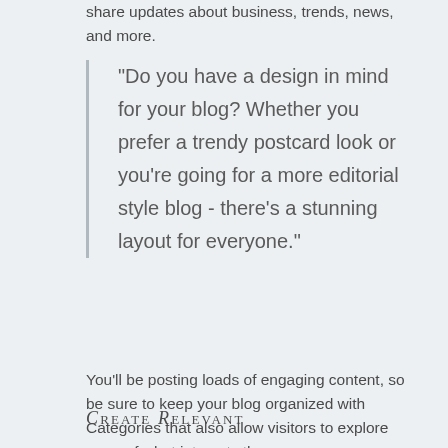share updates about business, trends, news, and more.
“Do you have a design in mind for your blog? Whether you prefer a trendy postcard look or you’re going for a more editorial style blog - there’s a stunning layout for everyone.”
You’ll be posting loads of engaging content, so be sure to keep your blog organized with Categories that also allow visitors to explore more of what interests them.
Create Relevant